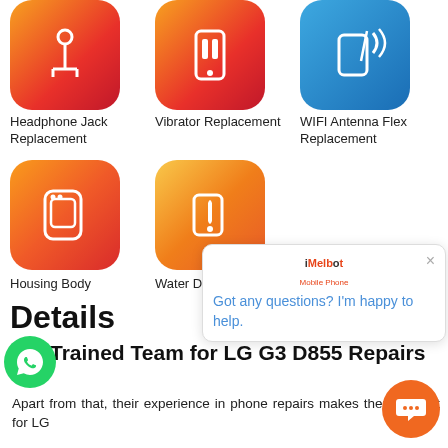[Figure (screenshot): Service icon for Headphone Jack Replacement - red/orange gradient rounded square with headphone jack icon]
Headphone Jack Replacement
[Figure (screenshot): Service icon for Vibrator Replacement - red/orange gradient rounded square with vibrator icon]
Vibrator Replacement
[Figure (screenshot): Service icon for WIFI Antenna Flex Replacement - blue gradient rounded square with wifi/phone icon]
WIFI Antenna Flex Replacement
[Figure (screenshot): Service icon for Housing Body - red/orange gradient rounded square with phone outline icon]
Housing Body
[Figure (screenshot): Service icon for Water Damage - orange/yellow gradient rounded square with water drop phone icon]
Water Damage
Details
[Figure (screenshot): iMelbourne/iMelbot chat popup with close button and message: Got any questions? I'm happy to help.]
Trained Team for LG G3 D855 Repairs
Apart from that, their experience in phone repairs makes them perfect for LG